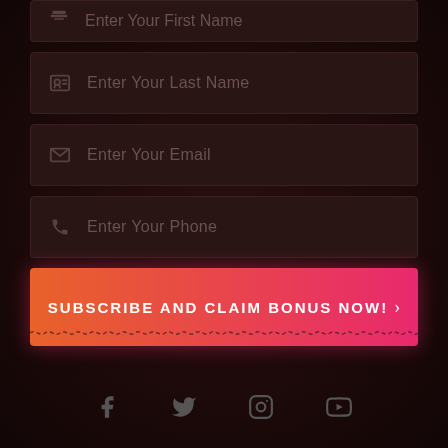[Figure (screenshot): Form input field with user icon and placeholder text 'Enter Your Last Name' on dark background]
[Figure (screenshot): Form input field with email/envelope icon and placeholder text 'Enter Your Email' on dark background]
[Figure (screenshot): Form input field with phone icon and placeholder text 'Enter Your Phone' on dark background]
SUBSCRIBE AND CLAIM BONUS NOW! ›
[Figure (illustration): Decorative wavy dashed line divider]
[Figure (infographic): Social media icons row: Facebook, Twitter, Instagram, YouTube]